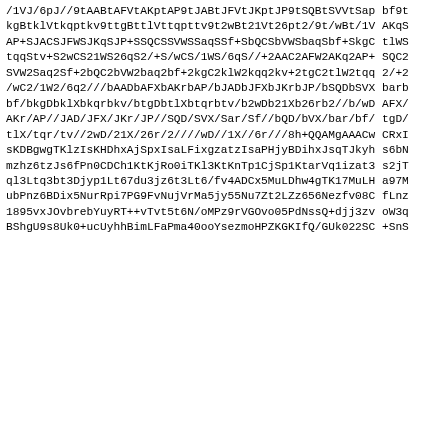/1VJ/6pJ//9tAABtAFVtAKptAP9tJABtJFVtJKptJP9tSQBtSVVtSap bf9t
kgBtklVtkqptkv9ttgBttlVttqpttv9t2wBt21Vt26pt2/9t/wBt/1V
AKqS
AP+SJACSJFWSJKqSJP+SSQCSSVWSSaqSSf+SbQCSbVWSbaqSbf+SkgC tlWS
tqqStv+S2wCS21WS26qS2/+S/wCS/1WS/6qS//+2AAC2AFW2AKq2AP+ SQC2
SVW2Saq2Sf+2bQC2bVW2baq2bf+2kgC2klW2kqq2kv+2tgC2tlW2tqq 2/+2
/wC2/1W2/6q2///bAADbAFXbAKrbAP/bJADbJFXbJKrbJP/bSQDbSVX barb
bf/bkgDbklXbkqrbkv/btgDbtlXbtqrbtv/b2wDb21Xb26rb2//b/wD AFX/
AKr/AP//JAD/JFX/JKr/JP//SQD/SVX/Sar/Sf//bQD/bVX/bar/bf/ tgD/
tlX/tqr/tv//2wD/21X/26r/2////wD//1X//6r///8h+QQAMgAAACw... CRxI
sKDBgwgTKlzIsKHDhxAjSpxIsaLFixgzatzIsaPHjyBDihxJsqTJkyh s6bN
mzhz6tzJs6fPn0CDCh1KtKjRo0iTKl3KtKnTp1CjSp1KtarVq1izat3 s2jT
ql3Ltq3bt3Djyp1Lt67du3jz6t3Lt6/fv4ADCx5MuLDhw4gTK17MuLH a97M
ubPnz6BDix5NurRpi7PG9FvNujVrMa5jy55Nu7Zt2LZz656Nezfv08C fLnz
1895vxJOvbrebYuyRT++vTvt5t6N/oMPz9rVGOvo05PdNssQ+djj3zv oW3q
BShgU9s8Uk0+ucUyhhBimLFaPma40ooYsezmoHPZKGKIfQ/GUk022SC +SnS